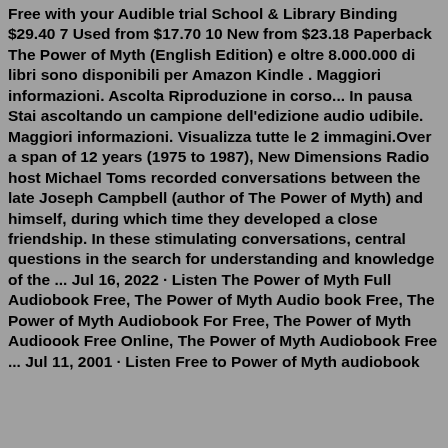Free with your Audible trial School & Library Binding $29.40 7 Used from $17.70 10 New from $23.18 Paperback The Power of Myth (English Edition) e oltre 8.000.000 di libri sono disponibili per Amazon Kindle . Maggiori informazioni. Ascolta Riproduzione in corso... In pausa Stai ascoltando un campione dell'edizione audio udibile. Maggiori informazioni. Visualizza tutte le 2 immagini.Over a span of 12 years (1975 to 1987), New Dimensions Radio host Michael Toms recorded conversations between the late Joseph Campbell (author of The Power of Myth) and himself, during which time they developed a close friendship. In these stimulating conversations, central questions in the search for understanding and knowledge of the ... Jul 16, 2022 · Listen The Power of Myth Full Audiobook Free, The Power of Myth Audio book Free, The Power of Myth Audiobook For Free, The Power of Myth Audioook Free Online, The Power of Myth Audiobook Free ... Jul 11, 2001 · Listen Free to Power of Myth audiobook